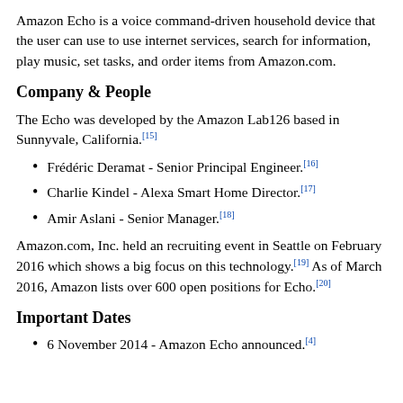Amazon Echo is a voice command-driven household device that the user can use to use internet services, search for information, play music, set tasks, and order items from Amazon.com.
Company & People
The Echo was developed by the Amazon Lab126 based in Sunnyvale, California.[15]
Frédéric Deramat - Senior Principal Engineer.[16]
Charlie Kindel - Alexa Smart Home Director.[17]
Amir Aslani - Senior Manager.[18]
Amazon.com, Inc. held an recruiting event in Seattle on February 2016 which shows a big focus on this technology.[19] As of March 2016, Amazon lists over 600 open positions for Echo.[20]
Important Dates
6 November 2014 - Amazon Echo announced.[4]